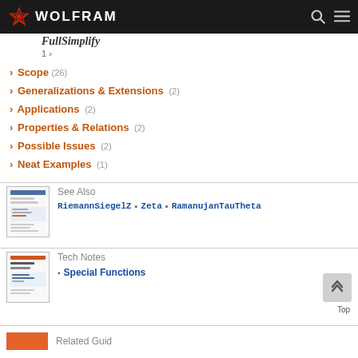WOLFRAM
FullSimplify
1 ›
Scope (26)
Generalizations & Extensions (2)
Applications (2)
Properties & Relations (2)
Possible Issues (2)
Neat Examples (1)
See Also
RiemannSiegelZ ▪ Zeta ▪ RamanujanTauTheta
Tech Notes
Special Functions
Top